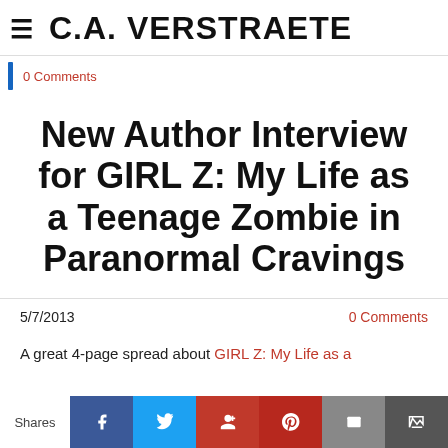≡ C.A. VERSTRAETE
0 Comments
New Author Interview for GIRL Z: My Life as a Teenage Zombie in Paranormal Cravings
5/7/2013
0 Comments
A great 4-page spread about GIRL Z: My Life as a
Shares [Facebook] [Twitter] [Google+] [Pinterest] [Email] [Crown]